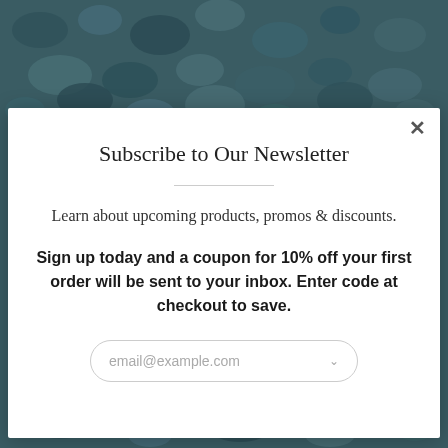[Figure (photo): Dark teal/blue gravel texture background image]
Subscribe to Our Newsletter
Learn about upcoming products, promos & discounts.
Sign up today and a coupon for 10% off your first order will be sent to your inbox. Enter code at checkout to save.
email@example.com